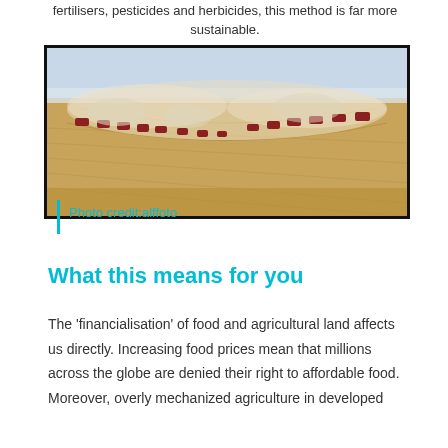[Figure (photo): Aerial photograph of multiple combine harvesters working across a vast wheat field, raising large dust clouds, seen from above in a diagonal formation.]
Photo credit:alffoto
What this means for you
The 'financialisation' of food and agricultural land affects us directly. Increasing food prices mean that millions across the globe are denied their right to affordable food. Moreover, overly mechanized agriculture in developed...